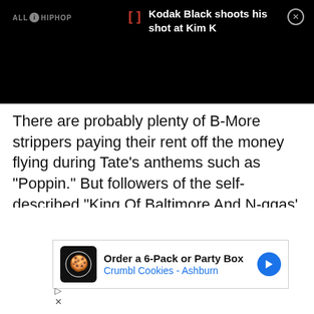[Figure (screenshot): Black notification bar showing AllHipHop logo on left and notification text 'Kodak Black shoots his shot at Kim K' with red bracket icon and close button on right]
There are probably plenty of B-More strippers paying their rent off the money flying during Tate’s anthems such as “Poppin.” But followers of the self-described “King Of Baltimore And N-ggas’ Girls” should not expect the rising artist to only present rap music. Kobang is not willing to accept being labeled a
[Figure (screenshot): Advertisement for Crumbl Cookies - Ashburn: Order a 6-Pack or Party Box, with cookie chef logo icon and blue arrow navigation button]